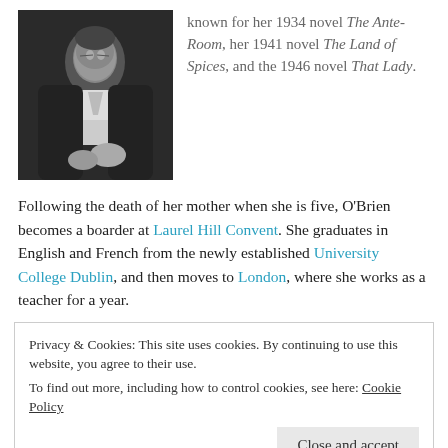[Figure (photo): Black and white photograph of a person in formal attire, sitting/posed, looking slightly to the side.]
known for her 1934 novel The Ante-Room, her 1941 novel The Land of Spices, and the 1946 novel That Lady.
Following the death of her mother when she is five, O'Brien becomes a boarder at Laurel Hill Convent. She graduates in English and French from the newly established University College Dublin, and then moves to London, where she works as a teacher for a year.
Privacy & Cookies: This site uses cookies. By continuing to use this website, you agree to their use.
To find out more, including how to control cookies, see here: Cookie Policy
Close and accept
and is awarded both the 1931 James Tait Black Memorial